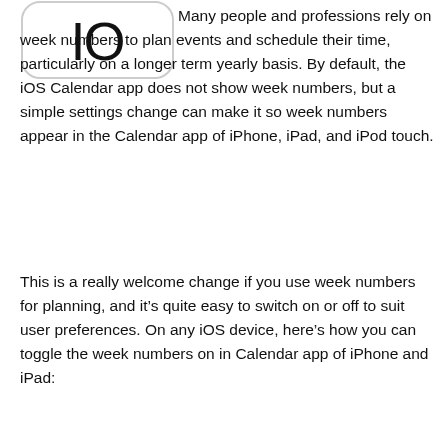[Figure (logo): iOS logo: rounded rectangle with '10' text (stylized as 'IO') inside]
Many people and professions rely on week numbers to plan events and schedule their time, particularly on a longer term yearly basis. By default, the iOS Calendar app does not show week numbers, but a simple settings change can make it so week numbers appear in the Calendar app of iPhone, iPad, and iPod touch.
This is a really welcome change if you use week numbers for planning, and it's quite easy to switch on or off to suit user preferences. On any iOS device, here's how you can toggle the week numbers on in Calendar app of iPhone and iPad: